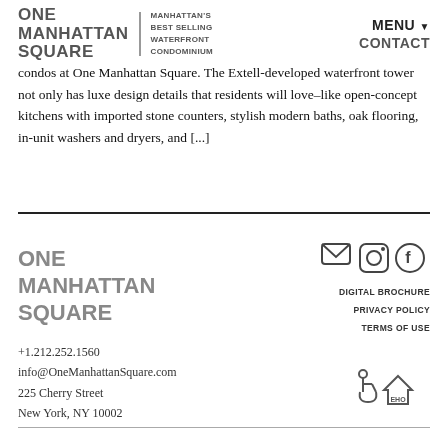ONE MANHATTAN SQUARE | MANHATTAN'S BEST SELLING WATERFRONT CONDOMINIUM | MENU | CONTACT
condos at One Manhattan Square. The Extell-developed waterfront tower not only has luxe design details that residents will love–like open-concept kitchens with imported stone counters, stylish modern baths, oak flooring, in-unit washers and dryers, and [...]
[Figure (logo): One Manhattan Square footer logo]
[Figure (infographic): Social media icons: email, Instagram, Facebook]
DIGITAL BROCHURE
PRIVACY POLICY
TERMS OF USE
+1.212.252.1560
info@OneManhattanSquare.com
225 Cherry Street
New York, NY 10002
[Figure (infographic): Accessibility and Equal Housing icons]